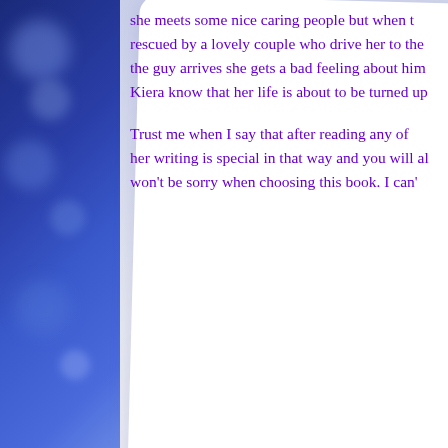she meets some nice caring people but when t... rescued by a lovely couple who drive her to the... the guy arrives she gets a bad feeling about him... Kiera know that her life is about to be turned up...
Trust me when I say that after reading any of ... her writing is special in that way and you will al... won't be sorry when choosing this book. I can'...